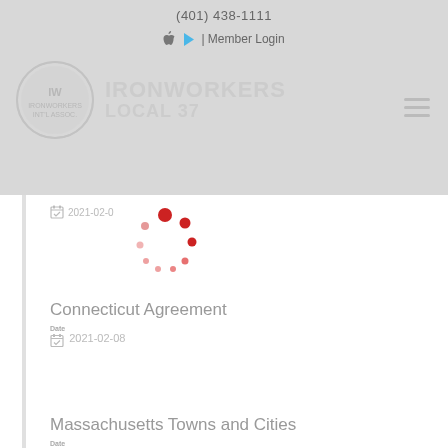(401) 438-1111
| Member Login
[Figure (logo): Ironworkers Local 37 circular union logo with American flag motif and text IRONWORKERS LOCAL 37]
Connecticut Agreement
2021-02-08
Massachusetts Towns and Cities
2021-02-15